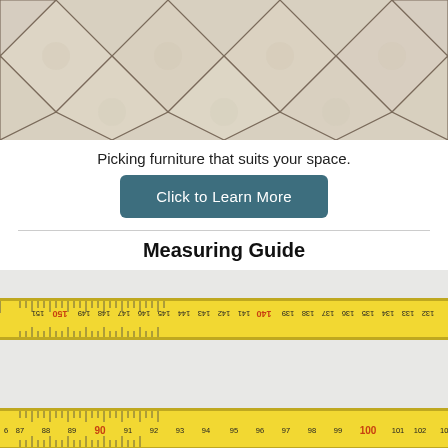[Figure (photo): Top portion of a diamond/rhombus tile pattern on a light beige/cream surface]
Picking furniture that suits your space.
Click to Learn More
Measuring Guide
[Figure (photo): Close-up photograph of a yellow measuring tape showing numbers 132-151 on the upper tape and 86-108 on the lower tape, with 140 and 100 highlighted in red/orange]